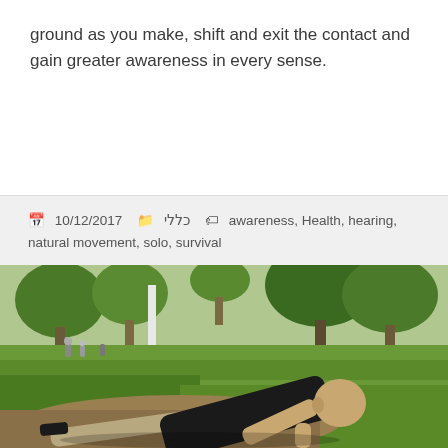ground as you make, shift and exit the contact and gain greater awareness in every sense.
10/12/2017  כללי  awareness, Health, hearing, natural movement, solo, survival
[Figure (photo): A bald man in a black t-shirt doing a push-up or ground movement exercise on dirt/grass in a sunny park with trees in the background.]